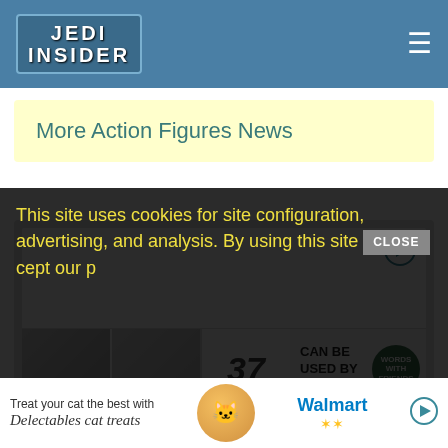Jedi Insider
More Action Figures News
[Figure (other): Advertisement banner with play button and image strip showing '37 CAN BE USED BY ANYONE']
[Figure (other): BigBadToyStore banner with action figure images]
This site uses cookies for site configuration, advertising, and analysis. By using this site you accept our p...
[Figure (other): Walmart advertisement: Treat your cat the best with Delectables cat treats]